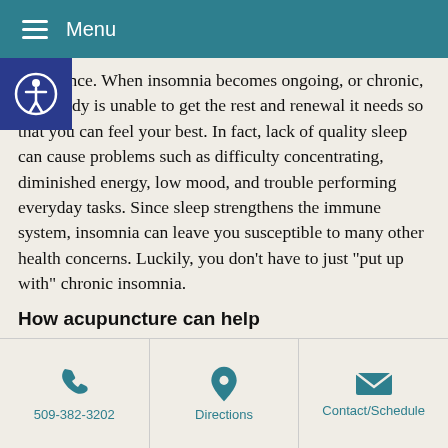Menu
annoyance. When insomnia becomes ongoing, or chronic, your body is unable to get the rest and renewal it needs so that you can feel your best. In fact, lack of quality sleep can cause problems such as difficulty concentrating, diminished energy, low mood, and trouble performing everyday tasks. Since sleep strengthens the immune system, insomnia can leave you susceptible to many other health concerns. Luckily, you don’t have to just “put up with” chronic insomnia.
How acupuncture can help
According to the theories of acupuncture and Traditional Chinese Medicine (TCM), conditions such as insomnia are a sign of an imbalance in Qi
509-382-3202    Directions    Contact/Schedule